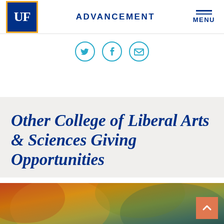[Figure (logo): University of Florida UF logo: white 'UF' text on blue background with gold border]
ADVANCEMENT
MENU
[Figure (infographic): Social media share icons: Twitter bird, Facebook f, and envelope/email icons in teal/blue circle outlines]
Other College of Liberal Arts & Sciences Giving Opportunities
[Figure (photo): Abstract colorful gradient image with orange, gold, green and teal tones, partially visible at bottom of page]